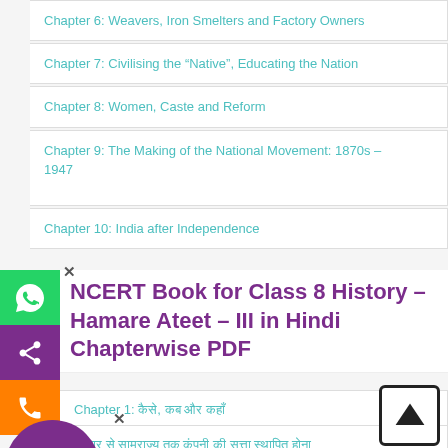Chapter 6: Weavers, Iron Smelters and Factory Owners
Chapter 7: Civilising the “Native”, Educating the Nation
Chapter 8: Women, Caste and Reform
Chapter 9: The Making of the National Movement: 1870s – 1947
Chapter 10: India after Independence
NCERT Book for Class 8 History – Hamare Ateet – III in Hindi Chapterwise PDF
Chapter 1: कैसे, कब और कहाँ
Chapter 2: व्यापार से साम्राज्य तक कंपनी की सत्ता स्थापित होना
Chapter 3: ग्रामीण क्षेत्र पर शासन करना
Chapter 4: आदिवासी, दिकु और एक उपनिवेश वाद की दृष्टि